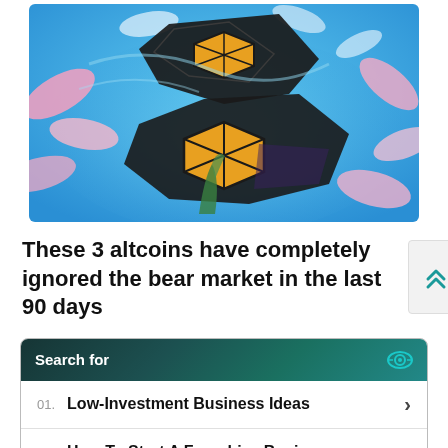[Figure (illustration): Colorful digital illustration of dark rocky crypto-themed shapes with gold hexagon accents, floating against a bright blue sky background with pink flower petals]
These 3 altcoins have completely ignored the bear market in the last 90 days
[Figure (infographic): Yahoo! Search sponsored ad block with dark teal header reading 'Search for', listing two items: '01. Low-Investment Business Ideas' and '02. How To Start A Franchise Business', with a footer reading 'Yahoo! Search | Sponsored']